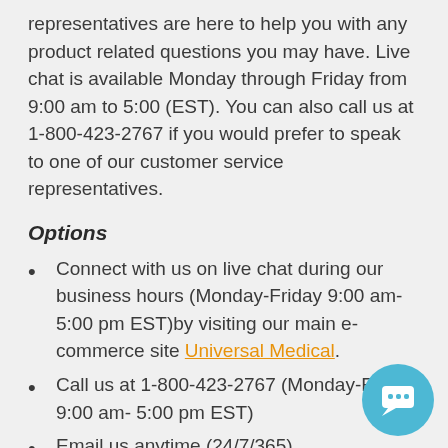representatives are here to help you with any product related questions you may have. Live chat is available Monday through Friday from 9:00 am to 5:00 (EST). You can also call us at 1-800-423-2767 if you would prefer to speak to one of our customer service representatives.
Options
Connect with us on live chat during our business hours (Monday-Friday 9:00 am-5:00 pm EST)by visiting our main e-commerce site Universal Medical.
Call us at 1-800-423-2767 (Monday-Friday 9:00 am- 5:00 pm EST)
Email us anytime (24/7/365)